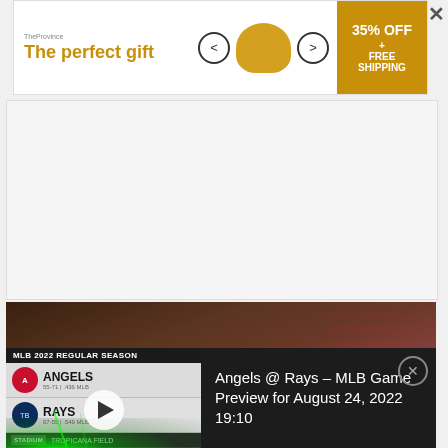[Figure (screenshot): Advertisement banner: 'The perfect gift' with food bowl imagery and '35% OFF + FREE SHIPPING' gold box]
[Figure (screenshot): White/gray empty content area placeholder]
[Figure (screenshot): Video thumbnail showing a person near an American flag, with MLB game preview overlay. Angels @ Rays - MLB Game Preview for August 24, 2022 19:10. Shows MLB 2022 Regular Season, Angels vs Rays, Stadium: Tropicana Field, Date: August 24, 2022]